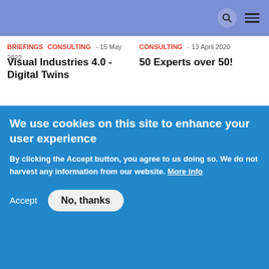BRIEFINGS CONSULTING - 15 May 2022
Visual Industries 4.0 - Digital Twins
CONSULTING - 13 April 2020
50 Experts over 50!
[Figure (photo): Elephant in a misty forest with rays of light]
[Figure (photo): Abstract digital/tech blue light wave illustration]
We use cookies on this site to enhance your user experience

By clicking the Accept button, you agree to us doing so. We do not harvest any information from our website. More info

Accept   No, thanks